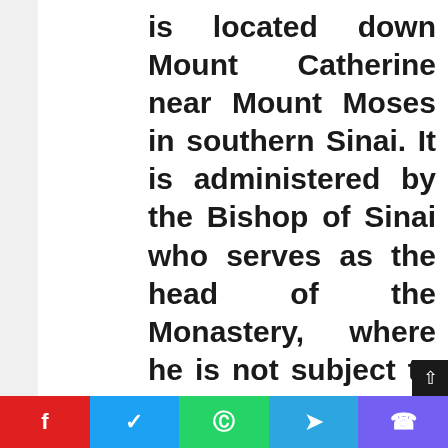is located down Mount Catherine near Mount Moses in southern Sinai. It is administered by the Bishop of Sinai who serves as the head of the Monastery, where he is not subject to any authority from a patriarch or a holy council, while keeping a strong relationship with the Patriarch of Jerusalem.

The custodianship of the monastery has been for the Russian Orthodox Church, and the
f  ❧  ©  ➤  ☎